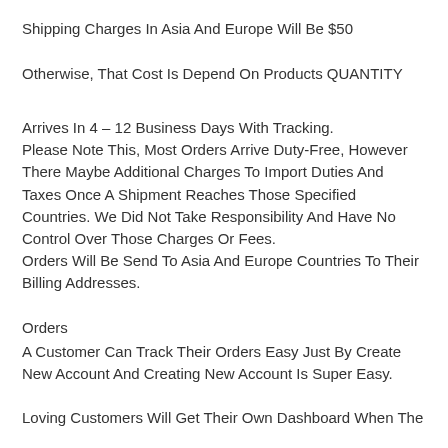Shipping Charges In Asia And Europe Will Be $50
Otherwise, That Cost Is Depend On Products QUANTITY
Arrives In 4 – 12 Business Days With Tracking.
Please Note This, Most Orders Arrive Duty-Free, However There Maybe Additional Charges To Import Duties And Taxes Once A Shipment Reaches Those Specified Countries. We Did Not Take Responsibility And Have No Control Over Those Charges Or Fees.
Orders Will Be Send To Asia And Europe Countries To Their Billing Addresses.
Orders
A Customer Can Track Their Orders Easy Just By Create New Account And Creating New Account Is Super Easy.
Loving Customers Will Get Their Own Dashboard When They